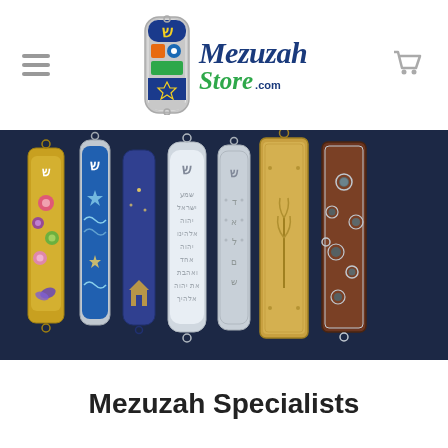MezuzahStore.com
[Figure (photo): Seven decorative mezuzah cases displayed against a dark navy velvet background. From left to right: a floral enamel mezuzah with colorful flowers and butterfly, a blue enamel mezuzah with Shin letter and wave patterns, a dark blue cylindrical mezuzah with moon and house motifs, a silver cylindrical mezuzah with Hebrew text inscriptions, a silver filigree mezuzah with Hebrew letters, a large gold/bronze ornate rectangular mezuzah with wheat/grass design, and a dark brown rectangular mezuzah with silver floral cutwork.]
Mezuzah Specialists